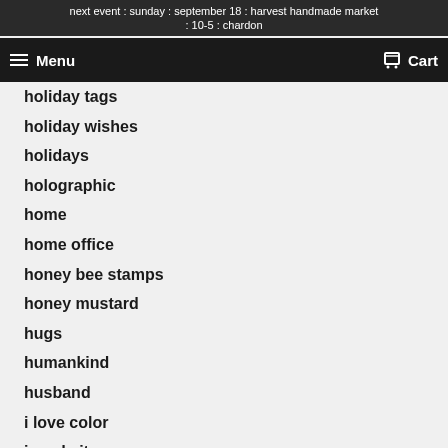next event : sunday : september 18 : harvest handmade market : 10-5 : chardon
holiday tags
holiday wishes
holidays
holographic
home
home office
honey bee stamps
honey mustard
hugs
humankind
husband
i love color
i made it
images
in the online shop